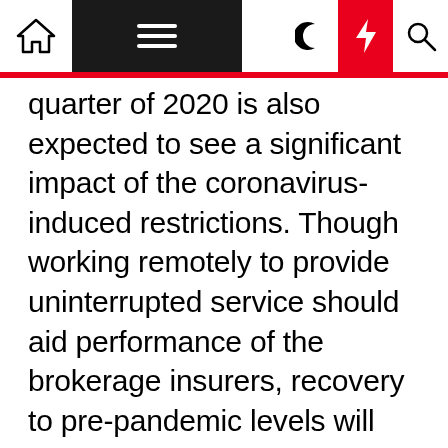Navigation bar with home, menu, dark mode, lightning, and search icons
quarter of 2020 is also expected to see a significant impact of the coronavirus-induced restrictions. Though working remotely to provide uninterrupted service should aid performance of the brokerage insurers, recovery to pre-pandemic levels will take time.  Also, the players are continually expanding globally, cross selling products, increasing rates, tightening underwriting standards, and controlling expenses. Growth in aging population is driving demand for retirement benefit products while rising population of baby boomers and millennials is boosting demand for medical insurance, life insurance, accidental insurance and other forms of